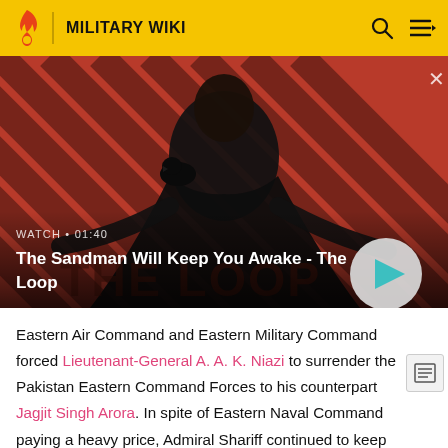MILITARY WIKI
[Figure (screenshot): Video banner showing a dark-robed figure with a raven on shoulder against a red diagonal-stripe background. Text overlay reads: WATCH • 01:40 / The Sandman Will Keep You Awake - The Loop. A circular play button is visible on the right.]
Eastern Air Command and Eastern Military Command forced Lieutenant-General A. A. K. Niazi to surrender the Pakistan Eastern Command Forces to his counterpart Jagjit Singh Arora. In spite of Eastern Naval Command paying a heavy price, Admiral Shariff continued to keep